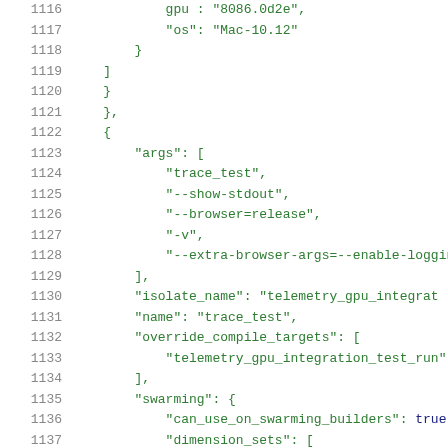Code listing lines 1116-1137, JSON configuration file snippet showing GPU telemetry test configuration with args, isolate_name, name, override_compile_targets, and swarming fields.